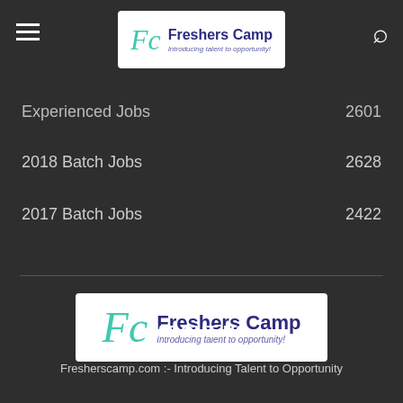Freshers Camp - Introducing talent to opportunity!
Experienced Jobs  2601
2018 Batch Jobs  2628
2017 Batch Jobs  2422
[Figure (logo): Freshers Camp logo with FC monogram in teal and text Introducing talent to opportunity! in purple]
ABOUT US
Fresherscamp.com :- Introducing Talent to Opportunity